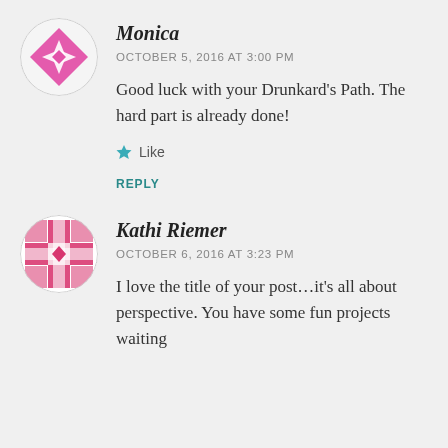[Figure (illustration): Circular avatar with pink/magenta geometric quilt pattern for user Monica]
Monica
OCTOBER 5, 2016 AT 3:00 PM
Good luck with your Drunkard’s Path. The hard part is already done!
Like
REPLY
[Figure (illustration): Circular avatar with pink/red geometric quilt pattern for user Kathi Riemer]
Kathi Riemer
OCTOBER 6, 2016 AT 3:23 PM
I love the title of your post…it’s all about perspective. You have some fun projects waiting